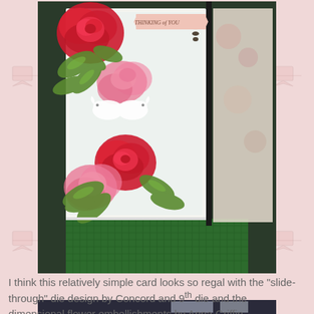[Figure (photo): A decorative handmade card with large red roses, pink flowers, green leaves, and two white doves, displayed in front of a green honeycomb stand outdoors. The card reads 'THINKING of YOU' on a banner at the top. Behind it are vintage-style patterned papers with floral motifs.]
I think this relatively simple card looks so regal with the "slide-through" die design by Concord and 9th die and the dimensional flower embellishments by Anna Griffin.
[Figure (photo): Partial view of another card or paper craft item, partially visible at the bottom of the page.]